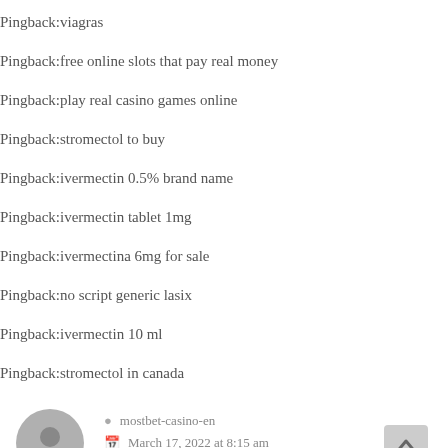Pingback:viagras
Pingback:free online slots that pay real money
Pingback:play real casino games online
Pingback:stromectol to buy
Pingback:ivermectin 0.5% brand name
Pingback:ivermectin tablet 1mg
Pingback:ivermectina 6mg for sale
Pingback:no script generic lasix
Pingback:ivermectin 10 ml
Pingback:stromectol in canada
mostbet-casino-en
March 17, 2022 at 8:15 am
Reply